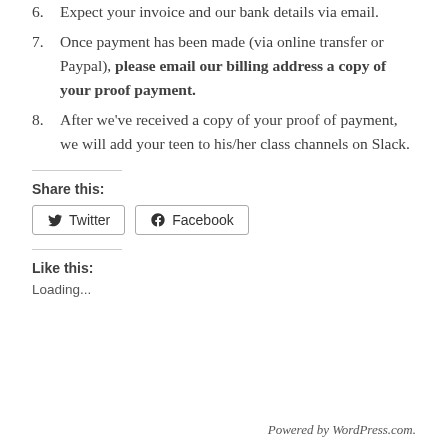6. Expect your invoice and our bank details via email.
7. Once payment has been made (via online transfer or Paypal), please email our billing address a copy of your proof payment.
8. After we've received a copy of your proof of payment, we will add your teen to his/her class channels on Slack.
Share this:
Twitter  Facebook
Like this:
Loading...
Powered by WordPress.com.